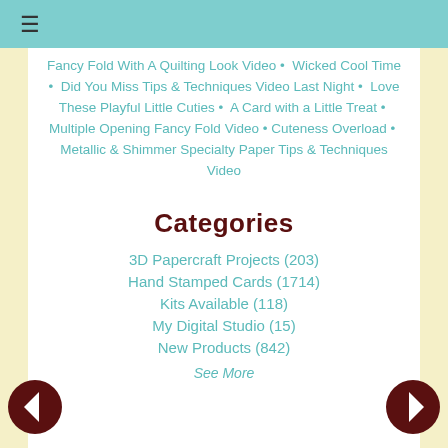≡
Fancy Fold With A Quilting Look Video • Wicked Cool Time • Did You Miss Tips & Techniques Video Last Night • Love These Playful Little Cuties • A Card with a Little Treat • Multiple Opening Fancy Fold Video • Cuteness Overload • Metallic & Shimmer Specialty Paper Tips & Techniques Video
Categories
3D Papercraft Projects (203)
Hand Stamped Cards (1714)
Kits Available (118)
My Digital Studio (15)
New Products (842)
See More